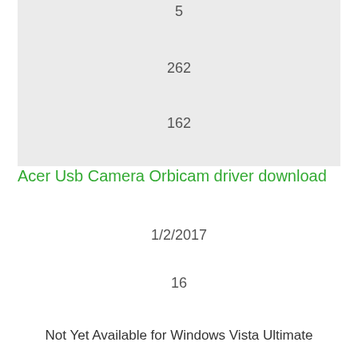5
262
162
Acer Usb Camera Orbicam driver download
1/2/2017
16
Not Yet Available for Windows Vista Ultimate